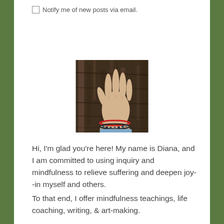Notify me of new posts via email.
[Figure (photo): A hand pressed flat against dark textured tree bark, wearing a red string bracelet and a beaded bracelet at the wrist, with a blue sleeve visible at the bottom edge.]
Hi, I'm glad you're here! My name is Diana, and I am committed to using inquiry and mindfulness to relieve suffering and deepen joy--in myself and others.
To that end, I offer mindfulness teachings, life coaching, writing, & art-making.